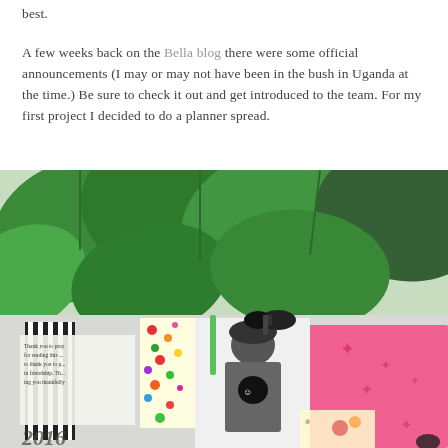best.
A few weeks back on the Bella blog there were some official announcements (I may or may not have been in the bush in Uganda at the time.) Be sure to check it out and get introduced to the team. For my first project I decided to do a planner spread.
[Figure (photo): Close-up photo of green clover leaves and a planner/scrapbook spread below with pink pages, a black bow clip, colorful patterned paper, a black-and-white photo of a person, and decorative stickers.]